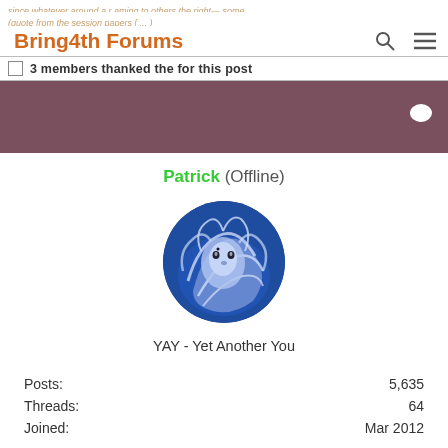Bring4th Forums
3 members thanked the for this post
[Figure (illustration): Mauve/purple horizontal bar with a white chat bubble icon on the right side]
Patrick (Offline)
[Figure (illustration): Circular avatar image of a blue-toned lion-like mystical figure with flowing white mane, blue background]
YAY - Yet Another You
Posts: 5,635
Threads: 64
Joined: Mar 2012